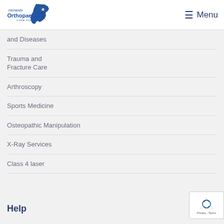Hernando Orthopaedic & Spinal Surgery — Menu
and Diseases
Trauma and Fracture Care
Arthroscopy
Sports Medicine
Osteopathic Manipulation
X-Ray Services
Class 4 laser
Help